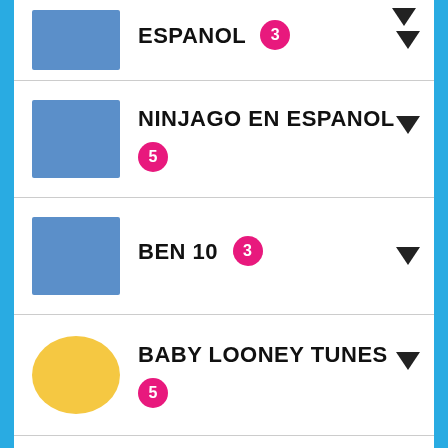ESPANOL 3
NINJAGO EN ESPANOL 5
BEN 10 3
BABY LOONEY TUNES 5
BEN 10: OMNIVERSE 5